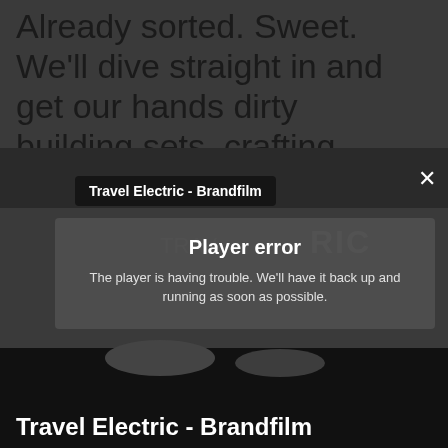Already sorted. Sweet. We'll dive straight in and get our hands dirty building sets, crafting looks, styling vibes and shouting ‘action’.
[Figure (screenshot): Video player showing Travel Electric - Brandfilm with a Player error overlay message. The error reads: 'Player error - The player is having trouble. We’ll have it back up and running as soon as possible.' A close X button is visible in the top right. The video title bar shows 'Travel Electric - Brandfilm'.]
love more than turning pocket-sized into pure social media dynamite.
Travel Electric - Brandfilm